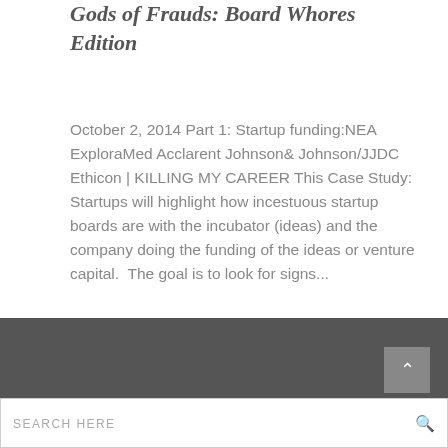Gods of Frauds: Board Whores Edition
October 2, 2014 Part 1: Startup funding:NEA ExploraMed Acclarent Johnson& Johnson/JJDC Ethicon | KILLING MY CAREER This Case Study: Startups will highlight how incestuous startup boards are with the incubator (ideas) and the company doing the funding of the ideas or venture capital.  The goal is to look for signs...
SEARCH HERE